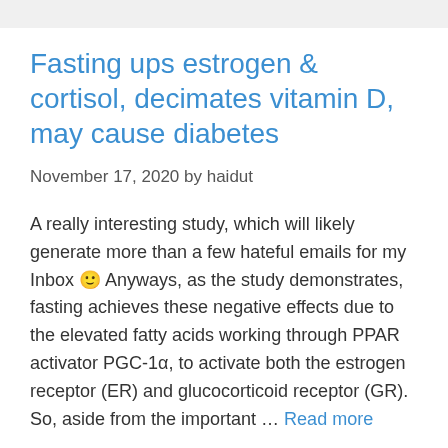Fasting ups estrogen & cortisol, decimates vitamin D, may cause diabetes
November 17, 2020 by haidut
A really interesting study, which will likely generate more than a few hateful emails for my Inbox 🙂 Anyways, as the study demonstrates, fasting achieves these negative effects due to the elevated fatty acids working through PPAR activator PGC-1α, to activate both the estrogen receptor (ER) and glucocorticoid receptor (GR). So, aside from the important … Read more